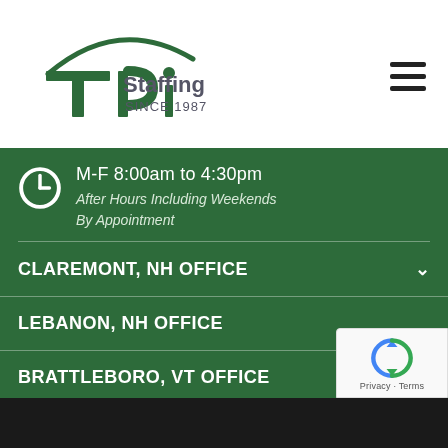[Figure (logo): TPi Staffing logo with green arc above 'TPi' text and 'Staffing SINCE 1987' tagline]
M-F 8:00am to 4:30pm
After Hours Including Weekends
By Appointment
CLAREMONT, NH OFFICE
LEBANON, NH OFFICE
BRATTLEBORO, VT OFFICE